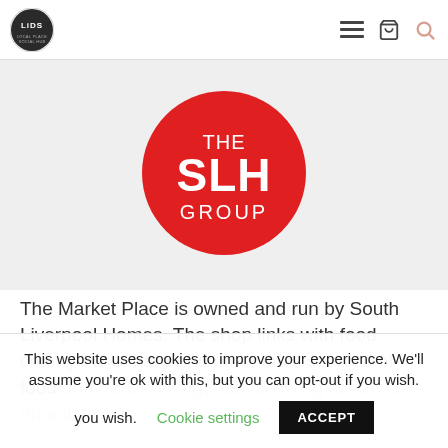[Figure (logo): LIDS circular logo in top-left navigation bar]
[Figure (logo): The SLH Group red circular logo with white text reading THE SLH GROUP]
The Market Place is owned and run by South Liverpool Homes. The shop links with food charity FareShare and other local sources of food and household goods, allowing residents on a low
This website uses cookies to improve your experience. We'll assume you're ok with this, but you can opt-out if you wish.